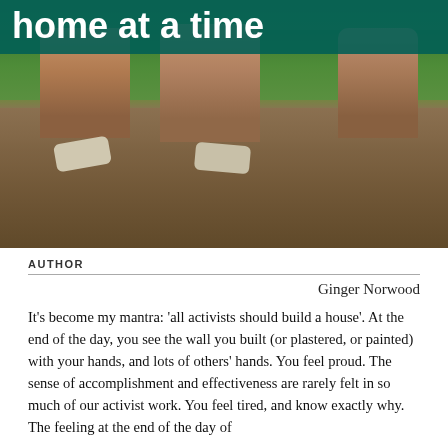[Figure (photo): People crouching down and working with soil/dirt outdoors on a construction or garden project, wearing gloves, with grass visible in the background. A teal banner overlays the top portion with large white text.]
home at a time
AUTHOR
Ginger Norwood
It's become my mantra: 'all activists should build a house'. At the end of the day, you see the wall you built (or plastered, or painted) with your hands, and lots of others' hands. You feel proud. The sense of accomplishment and effectiveness are rarely felt in so much of our activist work. You feel tired, and know exactly why. The feeling at the end of the day of